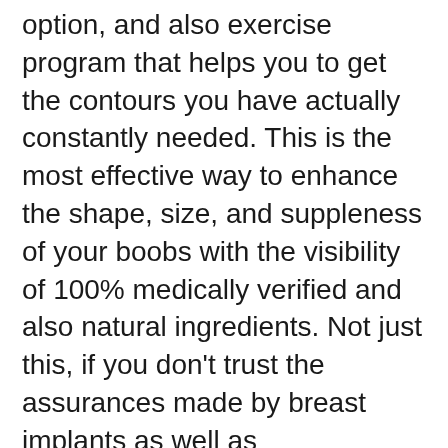option, and also exercise program that helps you to get the contours you have actually constantly needed. This is the most effective way to enhance the shape, size, and suppleness of your boobs with the visibility of 100% medically verified and also natural ingredients. Not just this, if you don't trust the assurances made by breast implants as well as augmentation, then it is extremely advised to use this product on a routine basis.
Does Breast Actives truly work?
Is BreastActives secure?
Where can I buy it for the most affordable cost?